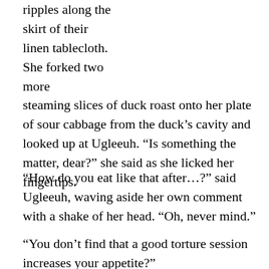ripples along the skirt of their linen tablecloth. She forked two more steaming slices of duck roast onto her plate of sour cabbage from the duck’s cavity and looked up at Ugleeuh. “Is something the matter, dear?” she said as she licked her fingertips.
“How do you eat like that after…?” said Ugleeuh, waving aside her own comment with a shake of her head. “Oh, never mind.”
“You don’t find that a good torture session increases your appetite?”